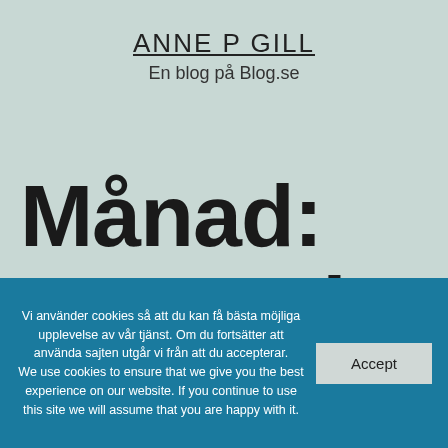ANNE P GILL
En blog på Blog.se
Månad: september 2021
Vi använder cookies så att du kan få bästa möjliga upplevelse av vår tjänst. Om du fortsätter att använda sajten utgår vi från att du accepterar. We use cookies to ensure that we give you the best experience on our website. If you continue to use this site we will assume that you are happy with it.